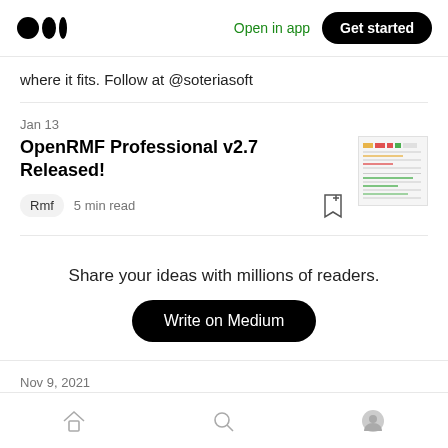Medium logo | Open in app | Get started
where it fits. Follow at @soteriasoft
Jan 13
OpenRMF Professional v2.7 Released!
Rmf  5 min read
Share your ideas with millions of readers.
Write on Medium
Nov 9, 2021
Ca... (partial title cut off)